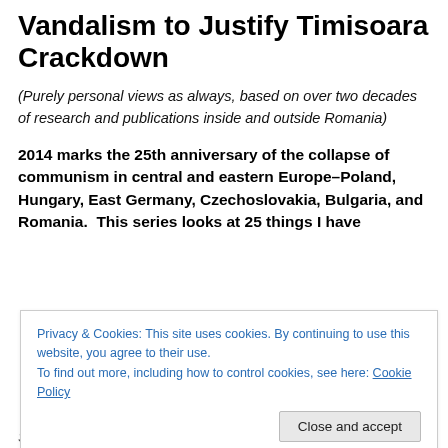Vandalism to Justify Timisoara Crackdown
(Purely personal views as always, based on over two decades of research and publications inside and outside Romania)
2014 marks the 25th anniversary of the collapse of communism in central and eastern Europe–Poland, Hungary, East Germany, Czechoslovakia, Bulgaria, and Romania. This series looks at 25 things I have
Privacy & Cookies: This site uses cookies. By continuing to use this website, you agree to their use.
To find out more, including how to control cookies, see here: Cookie Policy
Significance. I have essentially been the only researcher